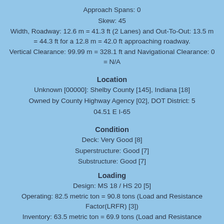Approach Spans: 0
Skew: 45
Width, Roadway: 12.6 m = 41.3 ft (2 Lanes) and Out-To-Out: 13.5 m = 44.3 ft for a 12.8 m = 42.0 ft approaching roadway.
Vertical Clearance: 99.99 m = 328.1 ft and Navigational Clearance: 0 = N/A
Location
Unknown [00000]: Shelby County [145], Indiana [18]
Owned by County Highway Agency [02], DOT District: 5
04.51 E I-65
Condition
Deck: Very Good [8]
Superstructure: Good [7]
Substructure: Good [7]
Loading
Design: MS 18 / HS 20 [5]
Operating: 82.5 metric ton = 90.8 tons (Load and Resistance Factor(LRFR) [3])
Inventory: 63.5 metric ton = 69.9 tons (Load and Resistance Factor(LRFR) [3])
Appraisal